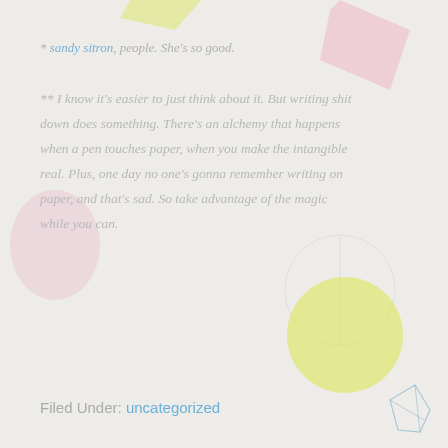* sandy sitron, people. She's so good.
** I know it's easier to just think about it. But writing shit down does something. There's an alchemy that happens when a pen touches paper, when you make the intangible real. Plus, one day no one's gonna remember writing on paper, and that's sad. So take advantage of the magic while you can.
Filed Under: uncategorized